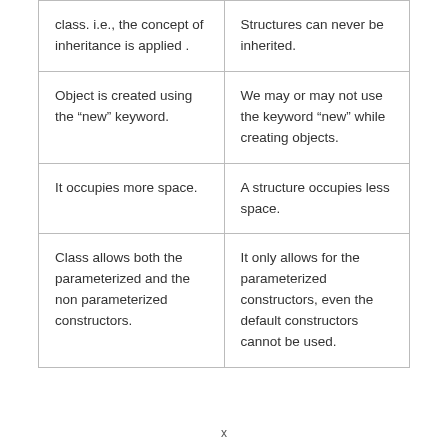| class. i.e., the concept of inheritance is applied . | Structures can never be inherited. |
| Object is created using the “new” keyword. | We may or may not use the keyword “new” while creating objects. |
| It occupies more space. | A structure occupies less space. |
| Class allows both the parameterized and the non parameterized constructors. | It only allows for the parameterized constructors, even the default constructors cannot be used. |
x